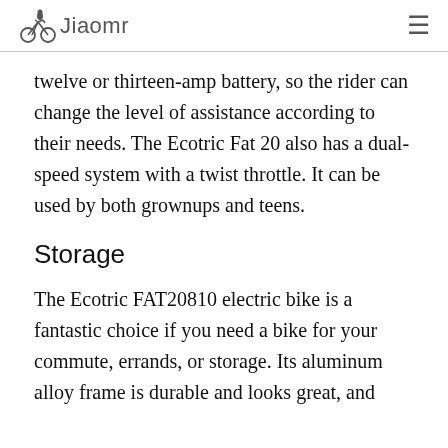Jiaomr
twelve or thirteen-amp battery, so the rider can change the level of assistance according to their needs. The Ecotric Fat 20 also has a dual-speed system with a twist throttle. It can be used by both grownups and teens.
Storage
The Ecotric FAT20810 electric bike is a fantastic choice if you need a bike for your commute, errands, or storage. Its aluminum alloy frame is durable and looks great, and